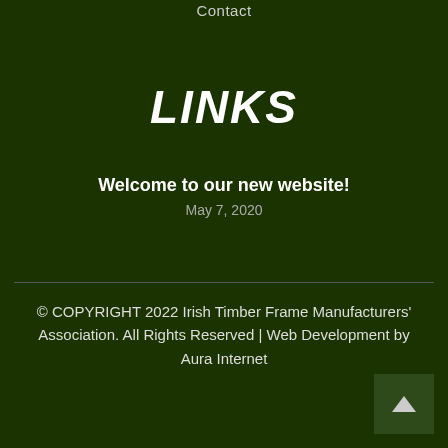Contact
LINKS
Welcome to our new website!
May 7, 2020
© COPYRIGHT 2022 Irish Timber Frame Manufacturers' Association. All Rights Reserved | Web Development by Aura Internet